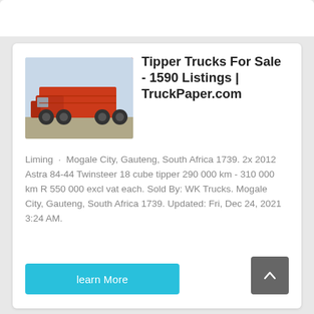[Figure (photo): Red tipper/dump truck parked outdoors, side view showing red dump body raised slightly]
Tipper Trucks For Sale - 1590 Listings | TruckPaper.com
Liming · Mogale City, Gauteng, South Africa 1739. 2x 2012 Astra 84-44 Twinsteer 18 cube tipper 290 000 km - 310 000 km R 550 000 excl vat each. Sold By: WK Trucks. Mogale City, Gauteng, South Africa 1739. Updated: Fri, Dec 24, 2021 3:24 AM.
learn More